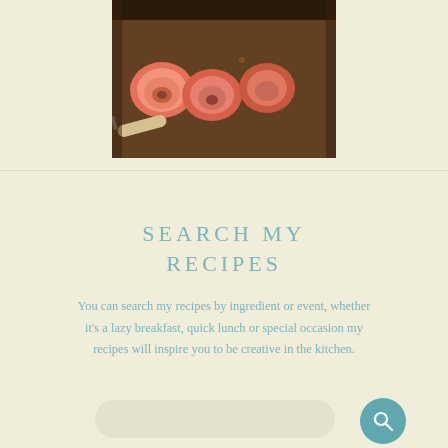[Figure (photo): Photo of roasted or baked apple halves on a baking tray with a knife visible, food photography style]
SEARCH MY RECIPES
You can search my recipes by ingredient or event, whether it's a lazy breakfast, quick lunch or special occasion my recipes will inspire you to be creative in the kitchen.